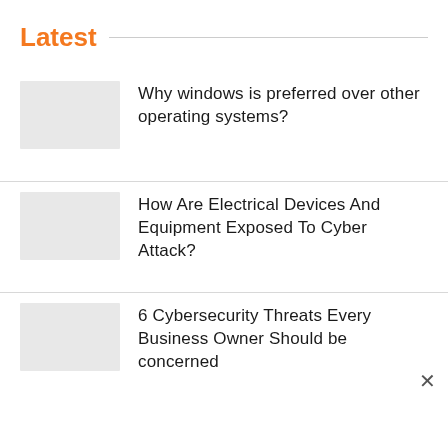Latest
Why windows is preferred over other operating systems?
How Are Electrical Devices And Equipment Exposed To Cyber Attack?
6 Cybersecurity Threats Every Business Owner Should be concerned